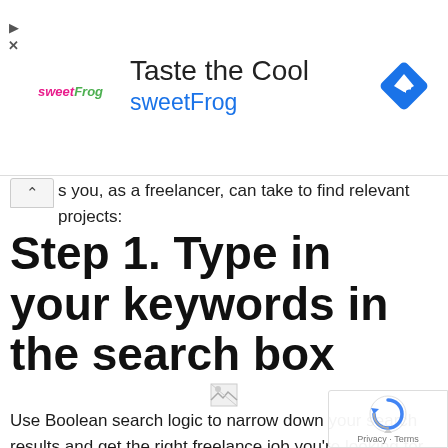[Figure (infographic): SweetFrog advertisement banner with logo, 'Taste the Cool' heading, 'sweetFrog' subtitle in blue, and Google Maps navigation diamond icon on the right]
...s you, as a freelancer, can take to find relevant projects:
Step 1. Type in your keywords in the search box
[Figure (photo): Broken/missing image placeholder showing a small thumbnail icon]
Use Boolean search logic to narrow down your search results and get the right freelance job you're looking for.
For example, I use variations of the following:
[Figure (logo): Google reCAPTCHA badge with circular arrow logo and 'Privacy · Terms' text]